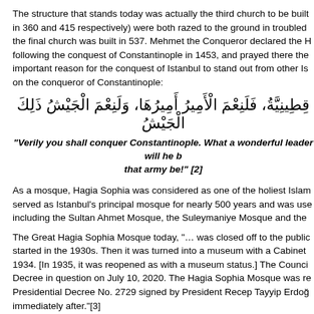The structure that stands today was actually the third church to be built in 360 and 415 respectively) were both razed to the ground in troubled the final church was built in 537. Mehmet the Conqueror declared the H following the conquest of Constantinople in 1453, and prayed there the important reason for the conquest of Istanbul to stand out from other Is on the conqueror of Constantinople:
"Verily you shall conquer Constantinople. What a wonderful leader will he b that army be!" [2]
As a mosque, Hagia Sophia was considered as one of the holiest Islam served as Istanbul's principal mosque for nearly 500 years and was use including the Sultan Ahmet Mosque, the Suleymaniye Mosque and the
The Great Hagia Sophia Mosque today, "… was closed off to the public started in the 1930s. Then it was turned into a museum with a Cabinet 1934. [In 1935, it was reopened as with a museum status.] The Counci Decree in question on July 10, 2020. The Hagia Sophia Mosque was re Presidential Decree No. 2729 signed by President Recep Tayyip Erdoğ immediately after."[3]